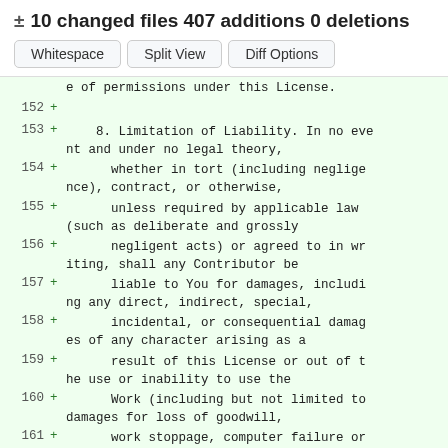± 10 changed files 407 additions 0 deletions
Whitespace  Split View  Diff Options
| line | marker | code |
| --- | --- | --- |
|  |  | e of permissions under this License. |
| 152 | + |  |
| 153 | + |     8. Limitation of Liability. In no event and under no legal theory, |
| 154 | + |       whether in tort (including negligence), contract, or otherwise, |
| 155 | + |       unless required by applicable law (such as deliberate and grossly |
| 156 | + |       negligent acts) or agreed to in writing, shall any Contributor be |
| 157 | + |       liable to You for damages, including any direct, indirect, special, |
| 158 | + |       incidental, or consequential damages of any character arising as a |
| 159 | + |       result of this License or out of the use or inability to use the |
| 160 | + |       Work (including but not limited to damages for loss of goodwill, |
| 161 | + |       work stoppage, computer failure or |